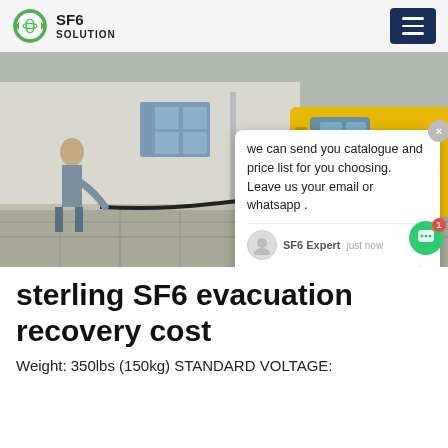SF6 SOLUTION
[Figure (photo): Yellow utility truck on a street with a person nearby and a building in the background. Watermark reads SF6China. A chat popup overlay is visible on the right side.]
sterling SF6 evacuation recovery cost
Weight: 350lbs (150kg) STANDARD VOLTAGE: